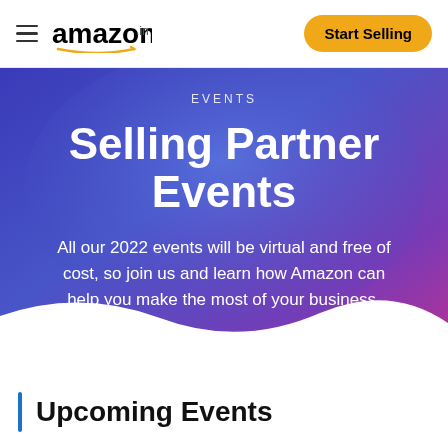amazon.in | Start Selling
[Figure (infographic): Amazon.in Selling Partner Events hero banner with gradient blue-to-purple background, 'EVENTS' label, large bold title 'Selling Partner Events', subtitle text about 2022 virtual events, and a wave-shaped bottom edge]
Upcoming Events